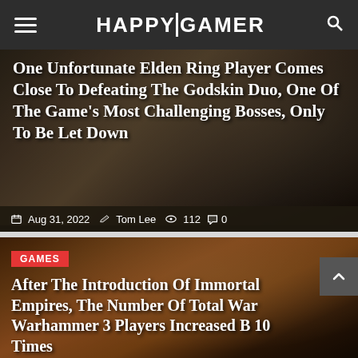HAPPYGAMER
[Figure (photo): Dark fantasy game screenshot background for Elden Ring article showing stone/rock textures]
One Unfortunate Elden Ring Player Comes Close To Defeating The Godskin Duo, One Of The Game's Most Challenging Bosses, Only To Be Let Down
Aug 31, 2022  Tom Lee  112  0
[Figure (photo): Fantasy battle scene screenshot for Total War Warhammer 3 article with warriors and winged creature]
GAMES
After The Introduction Of Immortal Empires, The Number Of Total War Warhammer 3 Players Increased B 10 Times